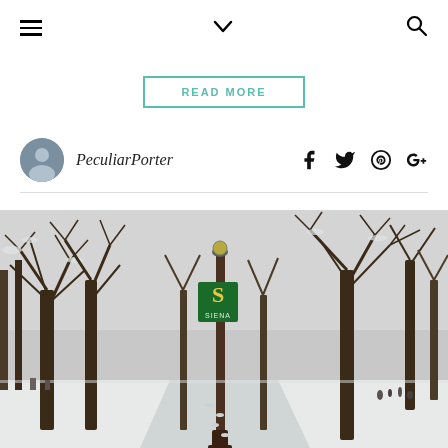Navigation bar with hamburger menu, chevron dropdown, and search icon
READ MORE
PeculiarPorter
[Figure (photo): Winter snow scene on a university campus (Siena College) with bare snow-covered trees, a lamp post bearing a green Siena banner with the letter S, and a snow-covered pathway with footprints. People are visible in the background.]